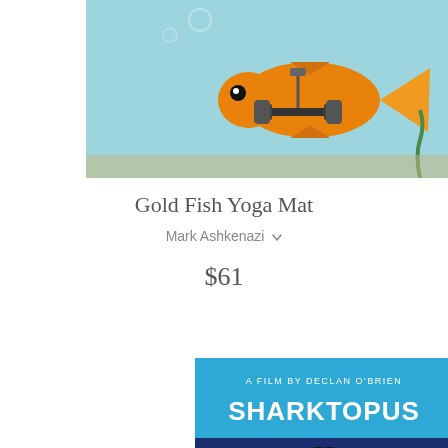[Figure (photo): Product photo showing two goldfish wearing barbell weight harnesses, swimming in an aquarium setting with a blue-green underwater background. Image appears to be the 'Gold Fish Yoga Mat' product photo shown twice side by side.]
Gold Fish Yoga Mat
Mark Ashkenazi
$61
[Figure (illustration): Movie poster style illustration for 'Sharktopus' - A Film by Declan O'Brien. Top portion is bright blue with white text, lower portion is dark navy blue with a large black shark fin silhouette emerging from the water.]